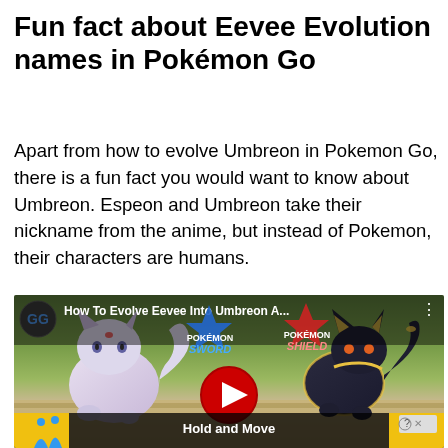Fun fact about Eevee Evolution names in Pokémon Go
Apart from how to evolve Umbreon in Pokemon Go, there is a fun fact you would want to know about Umbreon. Espeon and Umbreon take their nickname from the anime, but instead of Pokemon, their characters are humans.
[Figure (screenshot): YouTube video thumbnail showing Espeon and Umbreon from Pokemon Sword and Shield with title 'How To Evolve Eevee Into Umbreon A...' and a play button. Bottom shows an ad overlay with 'Hold and Move' text.]